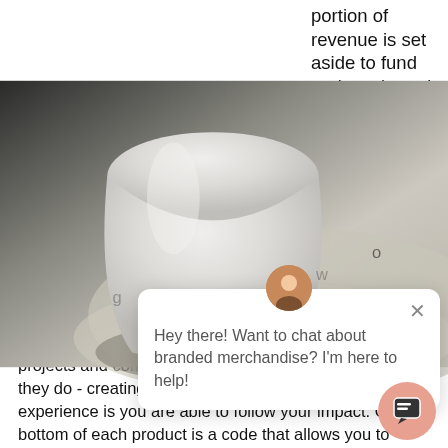[Figure (photo): Close-up photo of a white cup or vessel on a sandy/gravelly textured surface with shadows]
portion of revenue is set aside to fund projects based on their
mission - clean water, healthy environment and strong communities. Clean water and proper sanitation are basic needs that many of us have the luxury of not thinking twice about. MiiR has partnered with organizations around the world to help fund long-term water, sanitation and hygiene. MiiR is driven to empower people to build better futures. They support nonprofits to help our communities become a safer place to live. Being environmentally driven to create a healthy place means MiiR partners with projects and communities that have the same mentality as they do - creating a better place. The best part of the experience is you are able to follow your impact. On the bottom of each product is a code that allows you to register